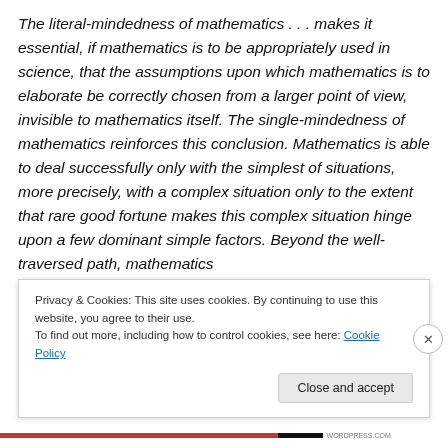The literal-mindedness of mathematics . . . makes it essential, if mathematics is to be appropriately used in science, that the assumptions upon which mathematics is to elaborate be correctly chosen from a larger point of view, invisible to mathematics itself. The single-mindedness of mathematics reinforces this conclusion. Mathematics is able to deal successfully only with the simplest of situations, more precisely, with a complex situation only to the extent that rare good fortune makes this complex situation hinge upon a few dominant simple factors. Beyond the well-traversed path, mathematics
Privacy & Cookies: This site uses cookies. By continuing to use this website, you agree to their use.
To find out more, including how to control cookies, see here: Cookie Policy